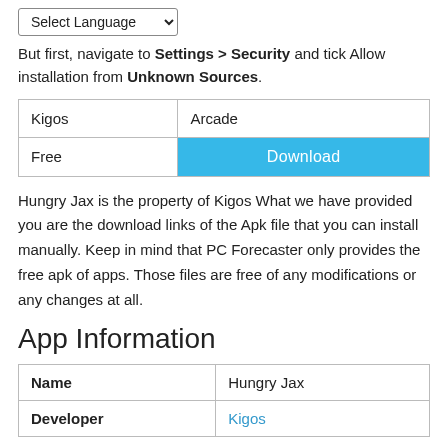[Figure (other): Select Language dropdown widget]
But first, navigate to Settings > Security and tick Allow installation from Unknown Sources.
| Kigos | Arcade |
| Free | Download |
Hungry Jax is the property of Kigos What we have provided you are the download links of the Apk file that you can install manually. Keep in mind that PC Forecaster only provides the free apk of apps. Those files are free of any modifications or any changes at all.
App Information
| Name | Hungry Jax |
| --- | --- |
| Developer | Kigos |